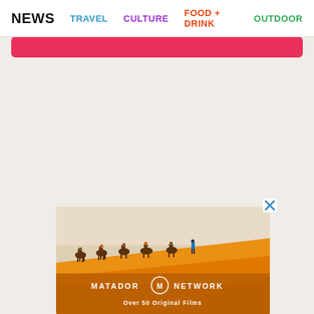NEWS   TRAVEL   CULTURE   FOOD + DRINK   OUTDOOR
[Figure (screenshot): Pink rounded banner bar below navigation]
[Figure (photo): Advertisement for Matador Network showing a caravan of camels and riders crossing orange sand dunes in a desert, with 'MATADOR NETWORK' branding and 'Over 50 Original Films' text overlay. Features a close/X button in the top right corner.]